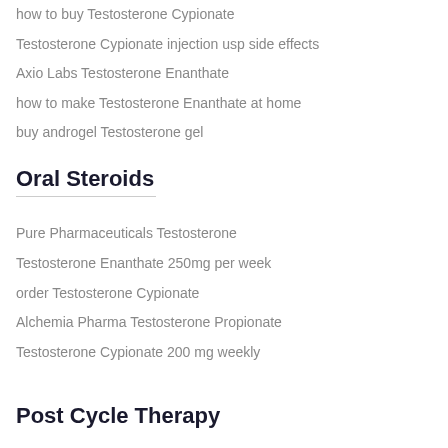how to buy Testosterone Cypionate
Testosterone Cypionate injection usp side effects
Axio Labs Testosterone Enanthate
how to make Testosterone Enanthate at home
buy androgel Testosterone gel
Oral Steroids
Pure Pharmaceuticals Testosterone
Testosterone Enanthate 250mg per week
order Testosterone Cypionate
Alchemia Pharma Testosterone Propionate
Testosterone Cypionate 200 mg weekly
Post Cycle Therapy